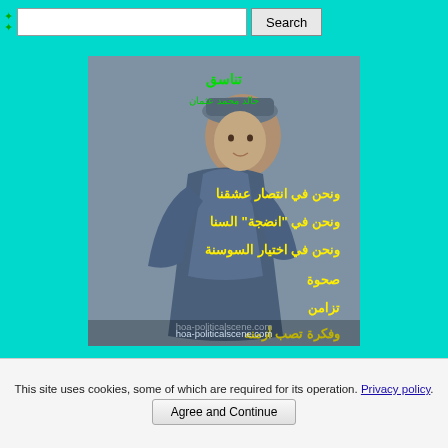[Figure (screenshot): Search bar with text input field and Search button on teal background]
[Figure (illustration): Image of a woman in Victorian dress overlaid with Arabic poetry text in yellow and green, with watermark hoa-politicalscene.com]
HOA Political Scene poem from Consistency by journalist and poet Khalid
This site uses cookies, some of which are required for its operation. Privacy policy.
Agree and Continue